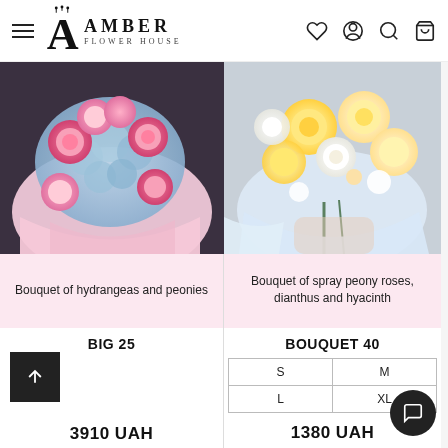Amber Flower House — navigation header with hamburger menu, logo, and icons (heart, account, search, cart)
[Figure (photo): Bouquet of pink peonies and blue hydrangeas wrapped in pink paper]
Bouquet of hydrangeas and peonies
BIG 25
3910 UAH
ADD TO CART
[Figure (photo): Bouquet of yellow and white spray peony roses with dianthus and hyacinth wrapped in white/blue paper]
Bouquet of spray peony roses, dianthus and hyacinth
BOUQUET 40
| S | M |
| L | XL |
1380 UAH
ADD TO CART